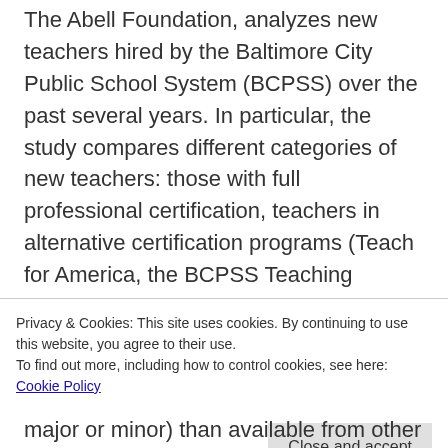The Abell Foundation, analyzes new teachers hired by the Baltimore City Public School System (BCPSS) over the past several years. In particular, the study compares different categories of new teachers: those with full professional certification, teachers in alternative certification programs (Teach for America, the BCPSS Teaching Residency Program, and Project SITE SUPPORT), and conditionally (formerly provisionally) certified teachers who were not participating in alternative programs. This preliminary study lays the foundation for future research in which
Privacy & Cookies: This site uses cookies. By continuing to use this website, you agree to their use.
To find out more, including how to control cookies, see here: Cookie Policy
major or minor) than available from other new